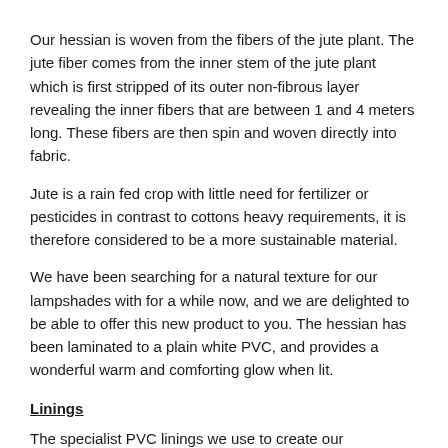Our hessian is woven from the fibers of the jute plant. The jute fiber comes from the inner stem of the jute plant which is first stripped of its outer non-fibrous layer revealing the inner fibers that are between 1 and 4 meters long. These fibers are then spin and woven directly into fabric.
Jute is a rain fed crop with little need for fertilizer or pesticides in contrast to cottons heavy requirements, it is therefore considered to be a more sustainable material.
We have been searching for a natural texture for our lampshades with for a while now, and we are delighted to be able to offer this new product to you. The hessian has been laminated to a plain white PVC, and provides a wonderful warm and comforting glow when lit.
Linings
The specialist PVC linings we use to create our lampshades have all passed the glow wire test carried out by the Lighting Association. They are flame retardant, UV stable (doesn't discolour over time) and have also been anti static treated (minimising the attraction of dust).
The colour of the lampshade frame will be white.